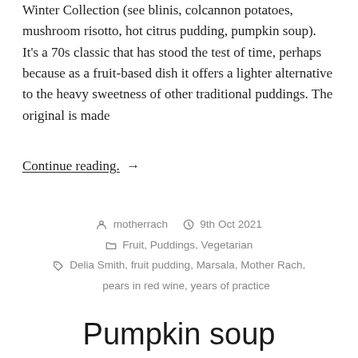Winter Collection (see blinis, colcannon potatoes, mushroom risotto, hot citrus pudding, pumpkin soup). It's a 70s classic that has stood the test of time, perhaps because as a fruit-based dish it offers a lighter alternative to the heavy sweetness of other traditional puddings. The original is made
Continue reading. →
motherrach   9th Oct 2021   Fruit, Puddings, Vegetarian   Delia Smith, fruit pudding, Marsala, Mother Rach, pears in red wine, years of practice
Pumpkin soup